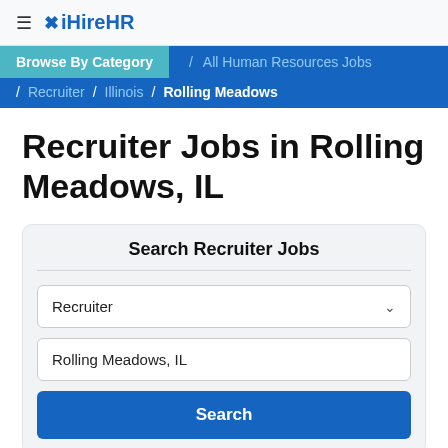≡ iHireHR
Browse By Category / All Human Resources Jobs / Recruiter / Illinois / Rolling Meadows
Recruiter Jobs in Rolling Meadows, IL
Search Recruiter Jobs
Recruiter
Rolling Meadows, IL
Search